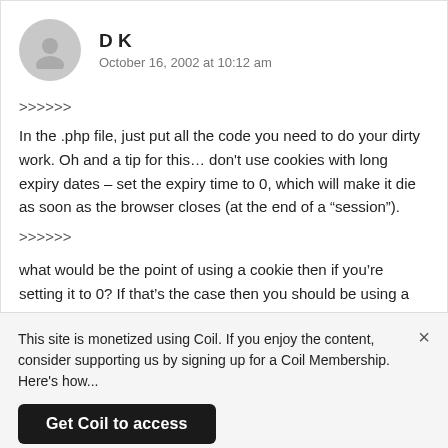D K
October 16, 2002 at 10:12 am
>>>>>>
In the .php file, just put all the code you need to do your dirty work. Oh and a tip for this… don't use cookies with long expiry dates – set the expiry time to 0, which will make it die as soon as the browser closes (at the end of a “session”).
>>>>>>
what would be the point of using a cookie then if you’re setting it to 0? If that’s the case then you should be using a session variable instead.
28
This site is monetized using Coil. If you enjoy the content, consider supporting us by signing up for a Coil Membership. Here's how...
Get Coil to access